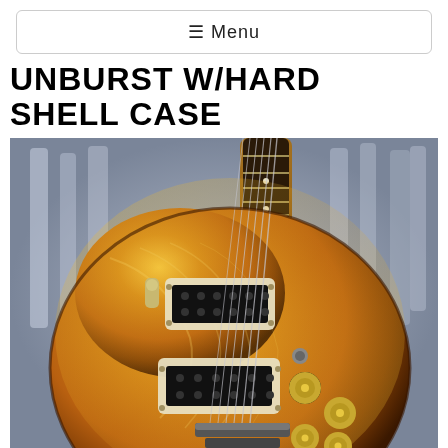☰ Menu
UNBURST W/HARD SHELL CASE
[Figure (photo): Close-up photograph of a Les Paul style electric guitar with a honey sunburst flame maple top, cream pickup rings, two humbuckers, gold knobs, and a bridge tailpiece. The guitar is displayed in what appears to be a guitar shop with many guitars visible in the blurred background.]